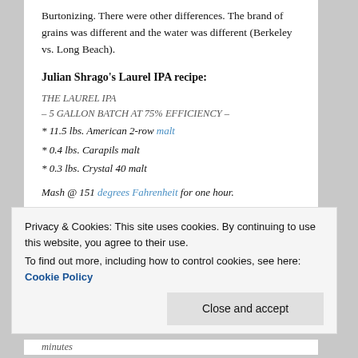Burtonizing. There were other differences. The brand of grains was different and the water was different (Berkeley vs. Long Beach).
Julian Shrago's Laurel IPA recipe:
THE LAUREL IPA
– 5 GALLON BATCH AT 75% EFFICIENCY –
* 11.5 lbs. American 2-row malt
* 0.4 lbs. Carapils malt
* 0.3 lbs. Crystal 40 malt
Mash @ 151 degrees Fahrenheit for one hour.
Privacy & Cookies: This site uses cookies. By continuing to use this website, you agree to their use. To find out more, including how to control cookies, see here: Cookie Policy
minutes